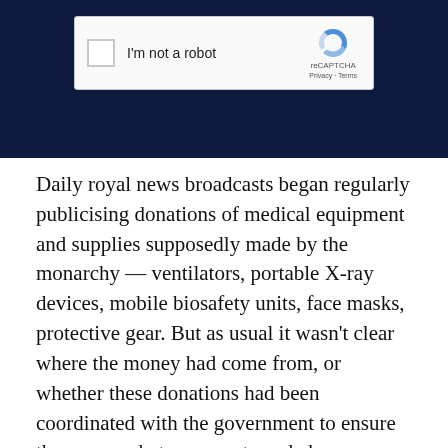[Figure (screenshot): reCAPTCHA widget on dark navy background showing a checkbox, 'I'm not a robot' label, and the reCAPTCHA logo with Privacy and Terms links]
Daily royal news broadcasts began regularly publicising donations of medical equipment and supplies supposedly made by the monarchy — ventilators, portable X-ray devices, mobile biosafety units, face masks, protective gear. But as usual it wasn't clear where the money had come from, or whether these donations had been coordinated with the government to ensure they were what was most needed, or were just handed out on an ad hoc basis. As with Bhumibol's development trips in the Thai countryside, there was no sign of any coherent plan at all.